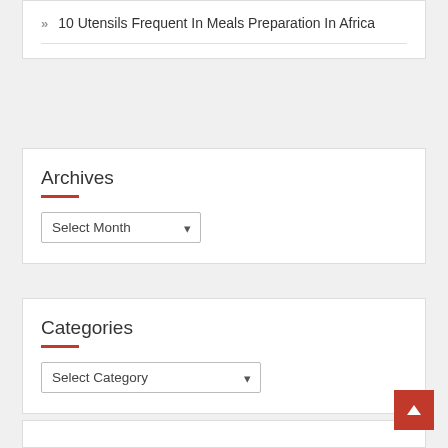» 10 Utensils Frequent In Meals Preparation In Africa
Archives
Select Month
Categories
Select Category